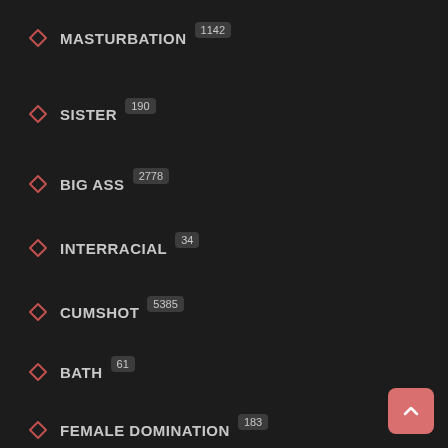MASTURBATION 1142
SISTER 190
BIG ASS 2778
INTERRACIAL 34
CUMSHOT 5385
BATH 61
FEMALE DOMINATION 183
ARAB 62
MATURE-ANAL 3658